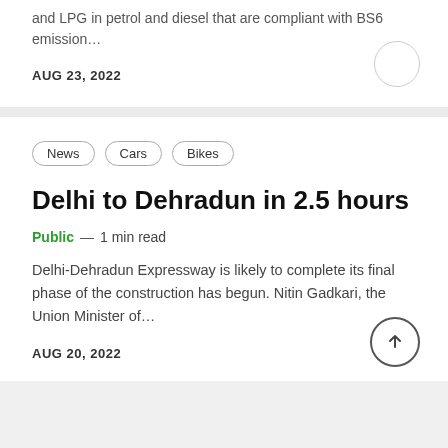and LPG in petrol and diesel that are compliant with BS6 emission...
AUG 23, 2022
News
Cars
Bikes
Delhi to Dehradun in 2.5 hours
Public — 1 min read
Delhi-Dehradun Expressway is likely to complete its final phase of the construction has begun. Nitin Gadkari, the Union Minister of...
AUG 20, 2022